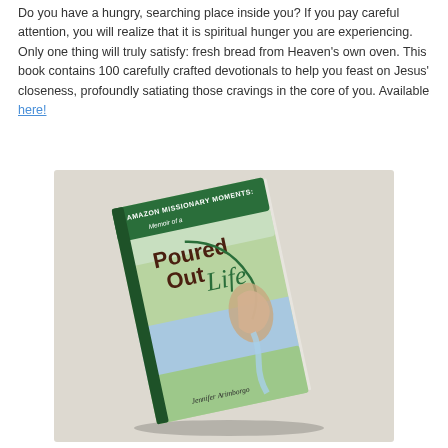Do you have a hungry, searching place inside you? If you pay careful attention, you will realize that it is spiritual hunger you are experiencing. Only one thing will truly satisfy: fresh bread from Heaven's own oven. This book contains 100 carefully crafted devotionals to help you feast on Jesus' closeness, profoundly satiating those cravings in the core of you. Available here!
[Figure (photo): Book cover of 'Amazon Missionary Moments: Memoir of a Poured Out Life' by Jennifer Arimborgo, shown at an angle on a light wooden surface. The cover features a nature scene with water, greenery, and illustrated imagery.]